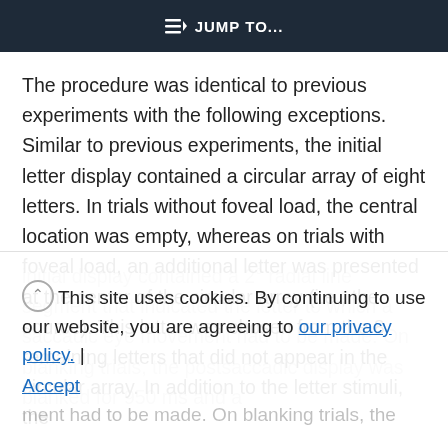≡D  JUMP TO...
The procedure was identical to previous experiments with the following exceptions. Similar to previous experiments, the initial letter display contained a circular array of eight letters. In trials without foveal load, the central location was empty, whereas on trials with foveal load, an additional letter was presented at the center of the circular array (i.e., the source). This letter was chosen from the 8 remaining letters that did not appear in the circular array. In addition to the letter stimuli, the
initial display contained a 2° radial line segment that indicated the letter to which a saccadic eye movement had to be made. On blanking trials, the postsaccadic display was blanked for 950 ms and a
This site uses cookies. By continuing to use our website, you are agreeing to our privacy policy.
Accept